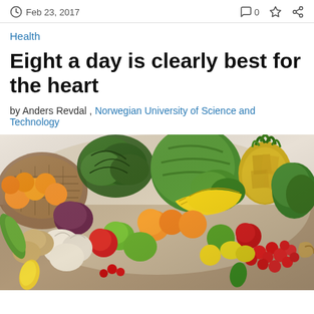Feb 23, 2017
Health
Eight a day is clearly best for the heart
by Anders Revdal , Norwegian University of Science and Technology
[Figure (photo): Large spread of assorted fruits and vegetables on a table including watermelon, pineapple, bananas, green apples, oranges, tomatoes, garlic, kale, and other produce]